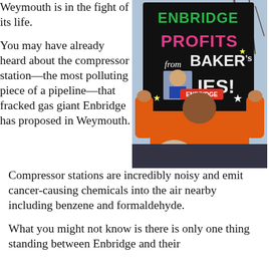Weymouth is in the fight of its life.
[Figure (photo): A person in an orange jacket holding up a handmade protest sign reading 'ENBRIDGE PROFITS from BAKER'S LIES' with an Enbridge logo sticker on it, surrounded by a crowd outdoors with bare trees in the background.]
You may have already heard about the compressor station—the most polluting piece of a pipeline—that fracked gas giant Enbridge has proposed in Weymouth. Compressor stations are incredibly noisy and emit cancer-causing chemicals into the air nearby including benzene and formaldehyde.
What you might not know is there is only one thing standing between Enbridge and their